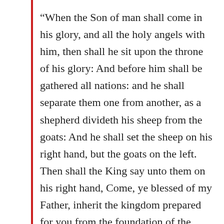“When the Son of man shall come in his glory, and all the holy angels with him, then shall he sit upon the throne of his glory: And before him shall be gathered all nations: and he shall separate them one from another, as a shepherd divideth his sheep from the goats: And he shall set the sheep on his right hand, but the goats on the left. Then shall the King say unto them on his right hand, Come, ye blessed of my Father, inherit the kingdom prepared for you from the foundation of the world. Then shall he say also unto them on the left hand, Depart from me, ye cursed, into everlasting fire,